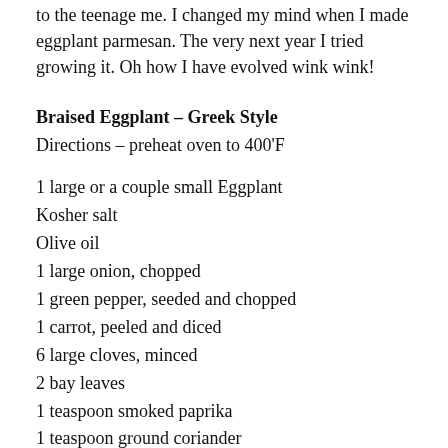to the teenage me. I changed my mind when I made eggplant parmesan. The very next year I tried growing it. Oh how I have evolved wink wink!
Braised Eggplant – Greek Style
Directions – preheat oven to 400'F
1 large or a couple small Eggplant
Kosher salt
Olive oil
1 large onion, chopped
1 green pepper, seeded and chopped
1 carrot, peeled and diced
6 large cloves, minced
2 bay leaves
1 teaspoon smoked paprika
1 teaspoon ground coriander
1 teaspoon oregano
½ teaspoon cinnamon